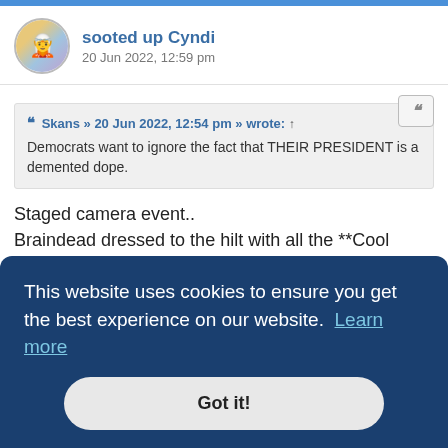sooted up Cyndi
20 Jun 2022, 12:59 pm
❝ Skans » 20 Jun 2022, 12:54 pm » wrote: ↑
Democrats want to ignore the fact that THEIR PRESIDENT is a demented dope.
Staged camera event..
Braindead dressed to the hilt with all the **Cool ***biker gear.. so virulent..
What could go wrong 🤠
This website uses cookies to ensure you get the best experience on our website. Learn more
Got it!
21 Jun 2022, 10:16 am